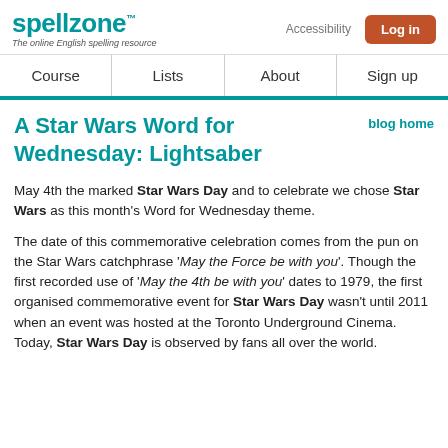spellzone – The online English spelling resource | Accessibility | Log in
Course | Lists | About | Sign up
A Star Wars Word for Wednesday: Lightsaber
blog home
May 4th the marked Star Wars Day and to celebrate we chose Star Wars as this month's Word for Wednesday theme.
The date of this commemorative celebration comes from the pun on the Star Wars catchphrase 'May the Force be with you'. Though the first recorded use of 'May the 4th be with you' dates to 1979, the first organised commemorative event for Star Wars Day wasn't until 2011 when an event was hosted at the Toronto Underground Cinema. Today, Star Wars Day is observed by fans all over the world.